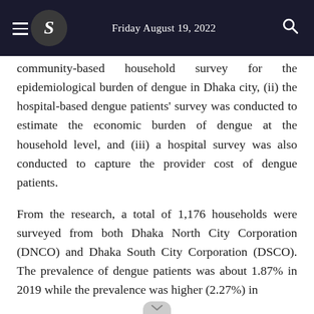Friday August 19, 2022
community-based household survey for the epidemiological burden of dengue in Dhaka city, (ii) the hospital-based dengue patients' survey was conducted to estimate the economic burden of dengue at the household level, and (iii) a hospital survey was also conducted to capture the provider cost of dengue patients.
From the research, a total of 1,176 households were surveyed from both Dhaka North City Corporation (DNCO) and Dhaka South City Corporation (DSCO). The prevalence of dengue patients was about 1.87% in 2019 while the prevalence was higher (2.27%) in